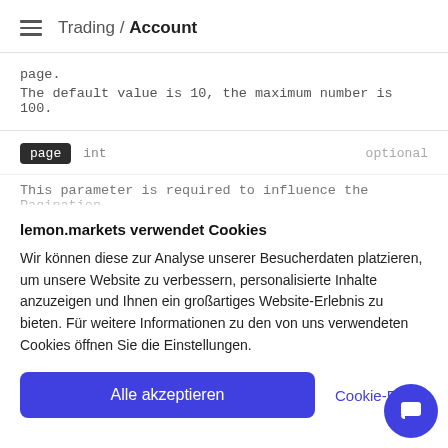Trading / Account
page.
The default value is 10, the maximum number is 100.
page   int   optional
This parameter is required to influence the Pagination
lemon.markets verwendet Cookies
Wir können diese zur Analyse unserer Besucherdaten platzieren, um unsere Website zu verbessern, personalisierte Inhalte anzuzeigen und Ihnen ein großartiges Website-Erlebnis zu bieten. Für weitere Informationen zu den von uns verwendeten Cookies öffnen Sie die Einstellungen.
Alle akzeptieren   Cookie-Einstellungen